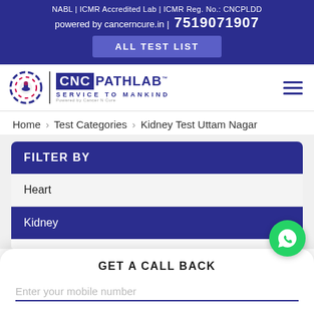NABL | ICMR Accredited Lab | ICMR Reg. No.: CNCPLDD
powered by cancerncure.in | 7519071907
ALL TEST LIST
[Figure (logo): CNC PathLab logo with circular emblem and text 'SERVICE TO MANKIND']
Home   Test Categories   Kidney Test Uttam Nagar
FILTER BY
Heart
Kidney
GET A CALL BACK
Enter your mobile number